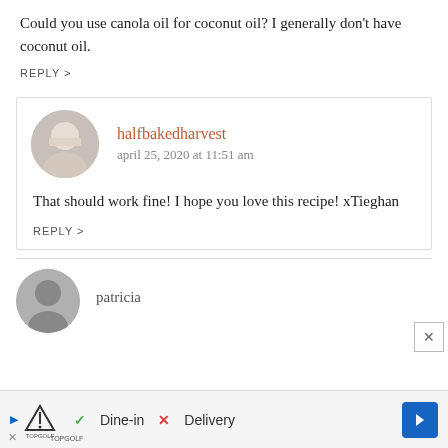Could you use canola oil for coconut oil? I generally don’t have coconut oil.
REPLY >
halfbakedharvest
april 25, 2020 at 11:51 am
That should work fine! I hope you love this recipe! xTieghan
REPLY >
patricia
[Figure (infographic): Advertisement bar for TopGolf showing Dine-in with green checkmark and Delivery with red X, plus a blue arrow navigation button]